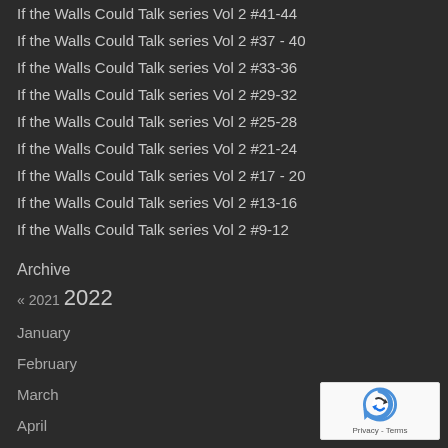If the Walls Could Talk series Vol 2 #41-44
If the Walls Could Talk series Vol 2 #37 - 40
If the Walls Could Talk series Vol 2 #33-36
If the Walls Could Talk series Vol 2 #29-32
If the Walls Could Talk series Vol 2 #25-28
If the Walls Could Talk series Vol 2 #21-24
If the Walls Could Talk series Vol 2 #17 - 20
If the Walls Could Talk series Vol 2 #13-16
If the Walls Could Talk series Vol 2 #9-12
Archive
« 2021 2022
January
February
March
April
May
June
July
August
[Figure (logo): reCAPTCHA logo with Privacy and Terms text]